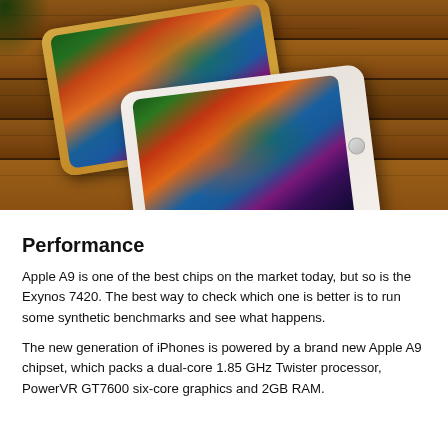[Figure (photo): Two smartphones (one gold/Android, one white/iPhone) laying on a wooden bench surface, both displaying colorful playground images on their screens.]
Performance
Apple A9 is one of the best chips on the market today, but so is the Exynos 7420. The best way to check which one is better is to run some synthetic benchmarks and see what happens.
The new generation of iPhones is powered by a brand new Apple A9 chipset, which packs a dual-core 1.85 GHz Twister processor, PowerVR GT7600 six-core graphics and 2GB RAM.